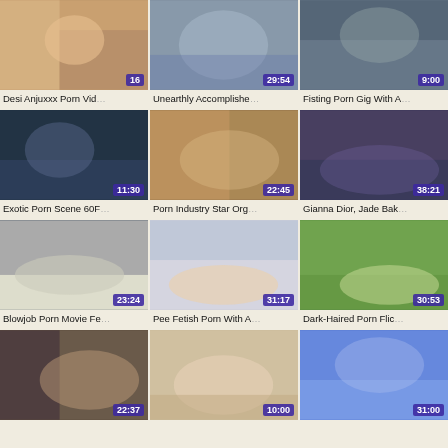[Figure (screenshot): 3x4 grid of video thumbnails with durations and titles. Row 1: 'Desi Anjuxxx Porn Vid...' (16s), 'Unearthly Accomplishe...' (29:54), 'Fisting Porn Gig With A...' (9:00). Row 2: 'Exotic Porn Scene 60F...' (11:30), 'Porn Industry Star Org...' (22:45), 'Gianna Dior, Jade Bak...' (38:21). Row 3: 'Blowjob Porn Movie Fe...' (23:24), 'Pee Fetish Porn With A...' (31:17), 'Dark-Haired Porn Flic...' (30:53). Row 4: partial thumbnails shown (22:37), (10:00), (31:00).]